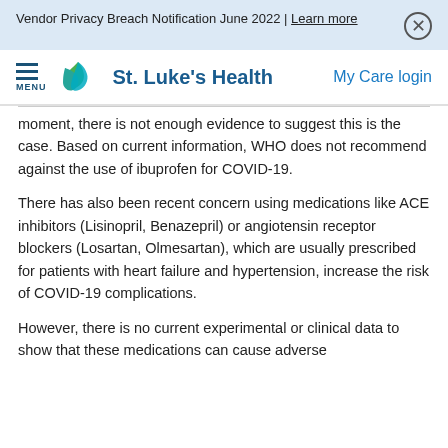Vendor Privacy Breach Notification June 2022 | Learn more
[Figure (logo): St. Luke's Health logo with green and teal star/cross icon and blue text]
moment, there is not enough evidence to suggest this is the case. Based on current information, WHO does not recommend against the use of ibuprofen for COVID-19.
There has also been recent concern using medications like ACE inhibitors (Lisinopril, Benazepril) or angiotensin receptor blockers (Losartan, Olmesartan), which are usually prescribed for patients with heart failure and hypertension, increase the risk of COVID-19 complications.
However, there is no current experimental or clinical data to show that these medications can cause adverse